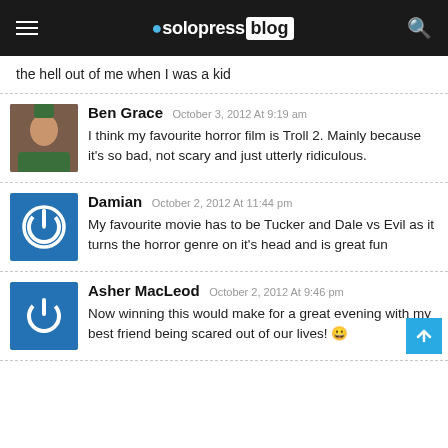solopress blog
the hell out of me when I was a kid
Ben Grace — October 3, 2012 At 9:19 am — I think my favourite horror film is Troll 2. Mainly because it's so bad, not scary and just utterly ridiculous.
Damian — October 2, 2012 At 11:44 pm — My favourite movie has to be Tucker and Dale vs Evil as it turns the horror genre on it's head and is great fun
Asher MacLeod — October 2, 2012 At 9:46 pm — Now winning this would make for a great evening with my best friend being scared out of our lives! 😀